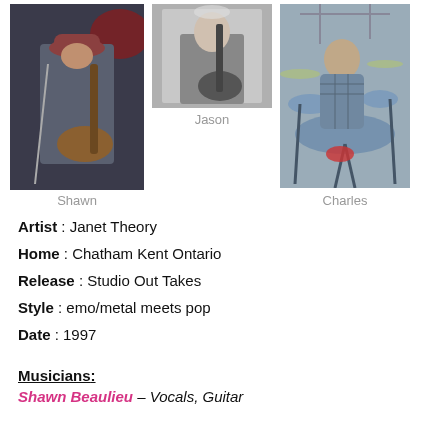[Figure (photo): Photo of Shawn playing bass guitar on stage, wearing a beanie hat, dark background with red light]
[Figure (photo): Black and white photo of Jason playing guitar]
[Figure (photo): Color photo of Charles at a drum kit]
Shawn
Jason
Charles
Artist : Janet Theory
Home : Chatham Kent Ontario
Release : Studio Out Takes
Style : emo/metal meets pop
Date : 1997
Musicians:
Shawn Beaulieu – Vocals, Guitar